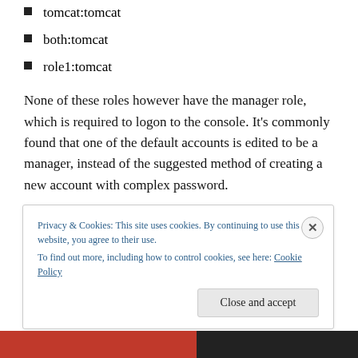tomcat:tomcat
both:tomcat
role1:tomcat
None of these roles however have the manager role, which is required to logon to the console. It's commonly found that one of the default accounts is edited to be a manager, instead of the suggested method of creating a new account with complex password.
Privacy & Cookies: This site uses cookies. By continuing to use this website, you agree to their use.
To find out more, including how to control cookies, see here: Cookie Policy